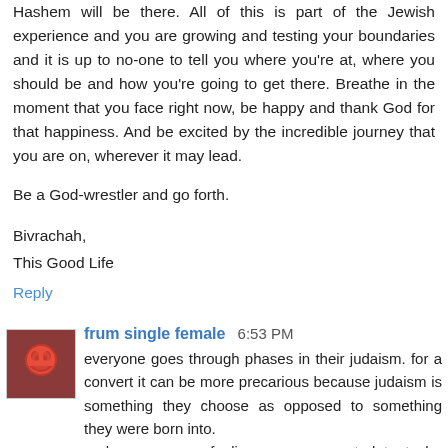Hashem will be there. All of this is part of the Jewish experience and you are growing and testing your boundaries and it is up to no-one to tell you where you're at, where you should be and how you're going to get there. Breathe in the moment that you face right now, be happy and thank God for that happiness. And be excited by the incredible journey that you are on, wherever it may lead.
Be a God-wrestler and go forth.
Bivrachah,
This Good Life
Reply
frum single female  6:53 PM
everyone goes through phases in their judaism. for a convert it can be more precarious because judaism is something they choose as opposed to something they were born into.
perhaps you are feeling more connected to taylor because he is not jewish and you did not grow up jewish.